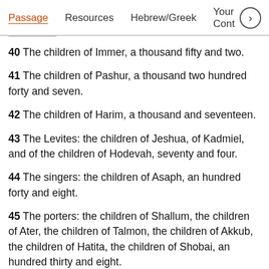Passage   Resources   Hebrew/Greek   Your Cont >
40 The children of Immer, a thousand fifty and two.
41 The children of Pashur, a thousand two hundred forty and seven.
42 The children of Harim, a thousand and seventeen.
43 The Levites: the children of Jeshua, of Kadmiel, and of the children of Hodevah, seventy and four.
44 The singers: the children of Asaph, an hundred forty and eight.
45 The porters: the children of Shallum, the children of Ater, the children of Talmon, the children of Akkub, the children of Hatita, the children of Shobai, an hundred thirty and eight.